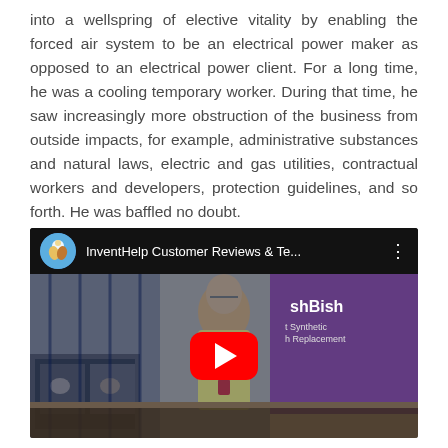into a wellspring of elective vitality by enabling the forced air system to be an electrical power maker as opposed to an electrical power client. For a long time, he was a cooling temporary worker. During that time, he saw increasingly more obstruction of the business from outside impacts, for example, administrative substances and natural laws, electric and gas utilities, contractual workers and developers, protection guidelines, and so forth. He was baffled no doubt.
[Figure (screenshot): YouTube video embed showing 'InventHelp Customer Reviews & Te...' with a man in a yellow shirt standing at a trade show booth with a purple banner reading 'shBish' and a red YouTube play button overlay.]